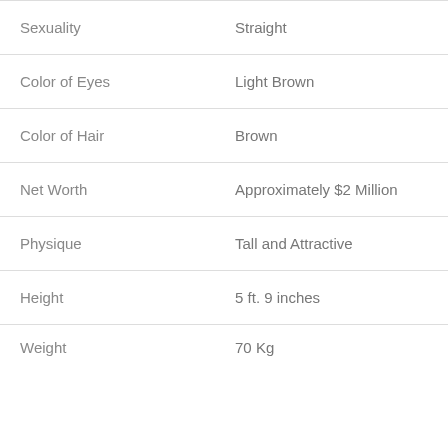| Attribute | Value |
| --- | --- |
| Sexuality | Straight |
| Color of Eyes | Light Brown |
| Color of Hair | Brown |
| Net Worth | Approximately $2 Million |
| Physique | Tall and Attractive |
| Height | 5 ft. 9 inches |
| Weight | 70 Kg |